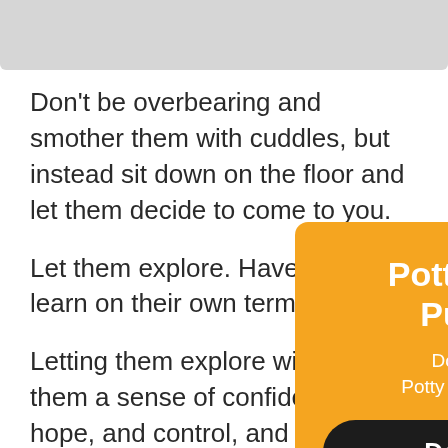[Figure (screenshot): Gray image/banner bar at top of page]
Don't be overbearing and smother them with cuddles, but instead sit down on the floor and let them decide to come to you.
Let them explore. Have them learn on their own terms.
Letting them explore will give them a sense of confidence, hope, and control, and ease into their new home.
[Figure (screenshot): Orange popup modal overlay with title 'Potty Train Your Puppy Fast!', subtitle 'Download the FREE Potty Training Cheat Sheet!', and a dark 'Download Now' button with an X close button]